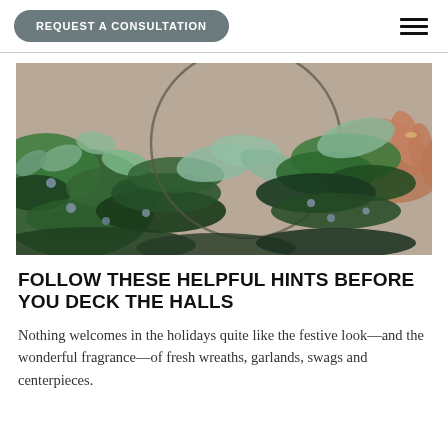REQUEST A CONSULTATION
[Figure (photo): Hands arranging a fresh greenery wreath with eucalyptus, pine, and berry branches on a neutral background]
FOLLOW THESE HELPFUL HINTS BEFORE YOU DECK THE HALLS
Nothing welcomes in the holidays quite like the festive look—and the wonderful fragrance—of fresh wreaths, garlands, swags and centerpieces.